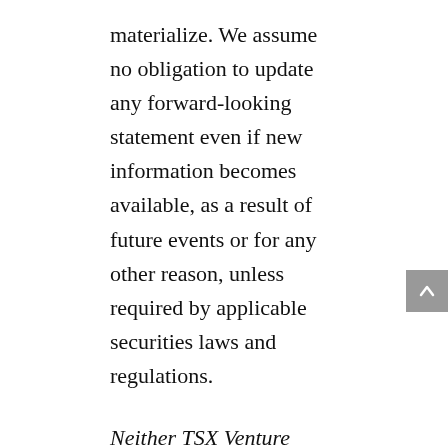materialize. We assume no obligation to update any forward-looking statement even if new information becomes available, as a result of future events or for any other reason, unless required by applicable securities laws and regulations.
Neither TSX Venture Exchange nor its Regulation Services Provider (as that term is defined in policies of the TSX Venture Exchange) accepts responsibility for the adequacy or accuracy of this release.